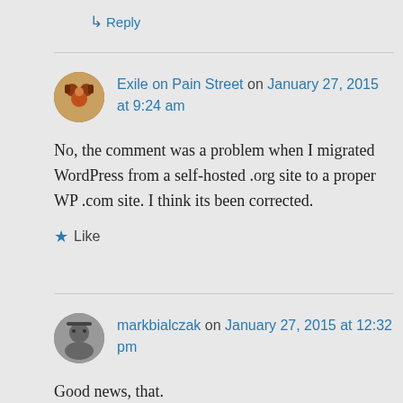↳ Reply
Exile on Pain Street on January 27, 2015 at 9:24 am
No, the comment was a problem when I migrated WordPress from a self-hosted .org site to a proper WP .com site. I think its been corrected.
★ Like
markbialczak on January 27, 2015 at 12:32 pm
Good news, that.